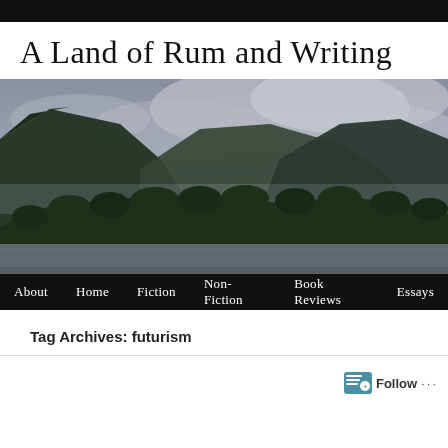A Land of Rum and Writing
[Figure (photo): Landscape photograph of dark green forested mountains with fog/clouds above, and a calm lake or river in the foreground. The scene is moody and overcast.]
About  Home  Fiction  Non-Fiction  Book Reviews  Essays
Tag Archives: futurism